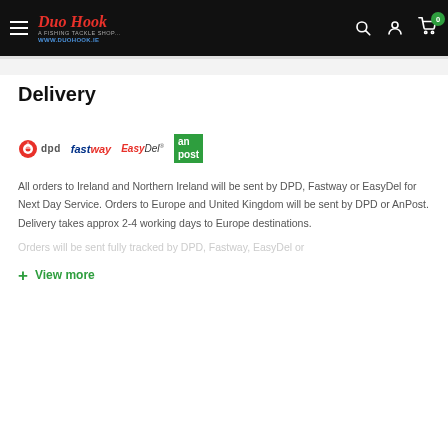Duo Hook — www.duohook.ie
Delivery
[Figure (logo): Courier logos: DPD, fastway, EasyDel, an post]
All orders to Ireland and Northern Ireland will be sent by DPD, Fastway or EasyDel for Next Day Service. Orders to Europe and United Kingdom will be sent by DPD or AnPost. Delivery takes approx 2-4 working days to Europe destinations.
Orders will be sent fully tracked by DPD, Fastway, EasyDel or
+ View more